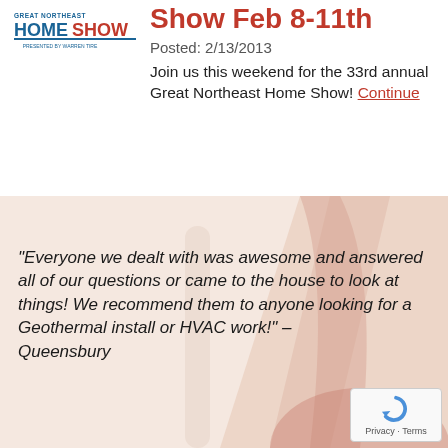[Figure (logo): Great Northeast Home Show logo in blue and red text]
Show Feb 8-11th
Posted: 2/13/2013
Join us this weekend for the 33rd annual Great Northeast Home Show! Continue
"Everyone we dealt with was awesome and answered all of our questions or came to the house to look at things! We recommend them to anyone looking for a Geothermal install or HVAC work!" – Queensbury